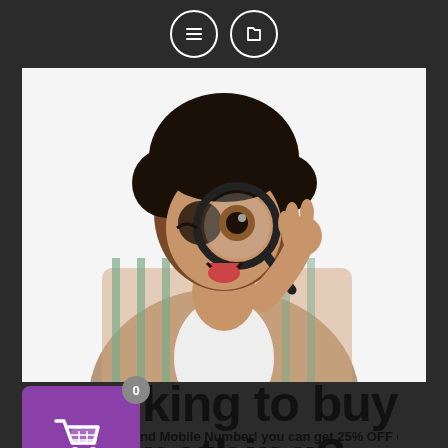[Figure (screenshot): Top navigation bar with two circular icon buttons (list icon and folder icon) on a dark background]
[Figure (photo): Young man with curly hair holding a magnifying glass over one eye, wearing a plaid shirt, white background]
[Figure (illustration): Purple shopping cart icon with badge showing 0 items]
Looking to buy something?
Share Your Name and Mobile Number! you can get 25% OFF on Every Products